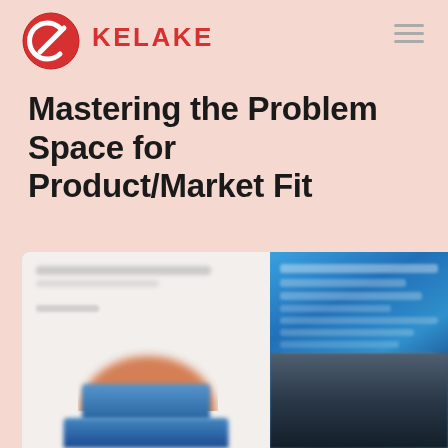[Figure (logo): Kelake brand logo: red circle with stylized letter C and slash, followed by bold red KELAKE text, hamburger menu icon on right]
Mastering the Problem Space for Product/Market Fit
[Figure (screenshot): Blurred screenshot of a presentation or article page showing an orange mountain/arc shape and blue bars on the left half, and a blue-toned image with text on the right half]